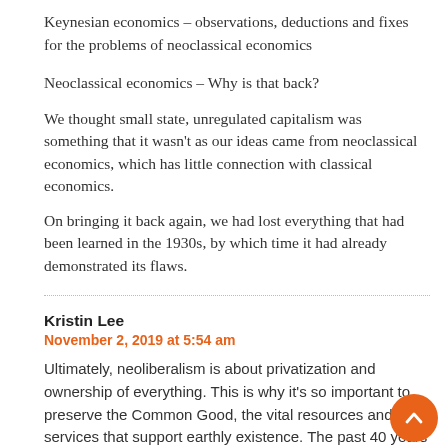Keynesian economics – observations, deductions and fixes for the problems of neoclassical economics
Neoclassical economics – Why is that back?
We thought small state, unregulated capitalism was something that it wasn't as our ideas came from neoclassical economics, which has little connection with classical economics.
On bringing it back again, we had lost everything that had been learned in the 1930s, by which time it had already demonstrated its flaws.
Kristin Lee
November 2, 2019 at 5:54 am
Ultimately, neoliberalism is about privatization and ownership of everything. This is why it's so important to preserve the Common Good, the vital resources and services that support earthly existence. The past 40 years has shown what happens when this falls out of balance. Our value system turns upside down – the sick become more valuable than healthy, a violent society provides for the prisons-for-profit system and so on. The biggest upset has been the